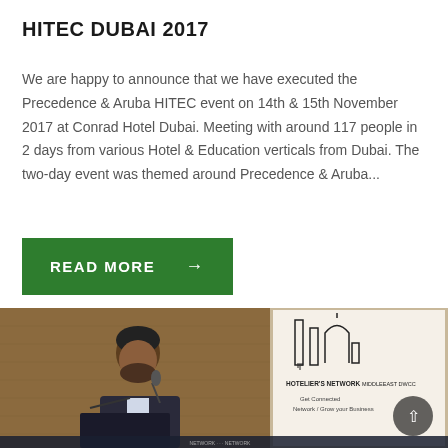HITEC DUBAI 2017
We are happy to announce that we have executed the Precedence & Aruba HITEC event on 14th & 15th November 2017 at Conrad Hotel Dubai. Meeting with around 117 people in 2 days from various Hotel & Education verticals from Dubai. The two-day event was themed around Precedence & Aruba...
READ MORE →
[Figure (photo): A person speaking at a podium/lectern at a conference event, with a Hotelier's Network Middle East DWCC banner visible in the background showing the organization logo and tagline 'Get Connected Network / Grow your Business']